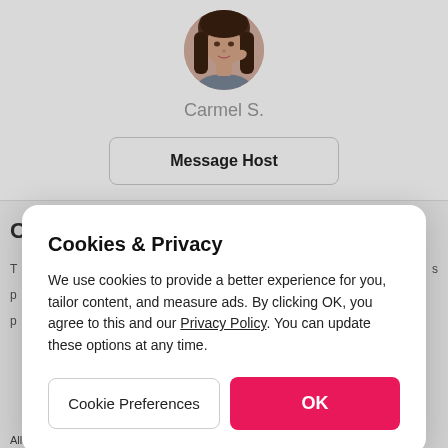[Figure (photo): Circular profile photo of a young woman with long dark hair]
Carmel S.
Message Host
C
T
s
p
p
Cookies & Privacy
We use cookies to provide a better experience for you, tailor content, and measure ads. By clicking OK, you agree to this and our Privacy Policy. You can update these options at any time.
Cookie Preferences
OK
All hosts are subject to the following rules...